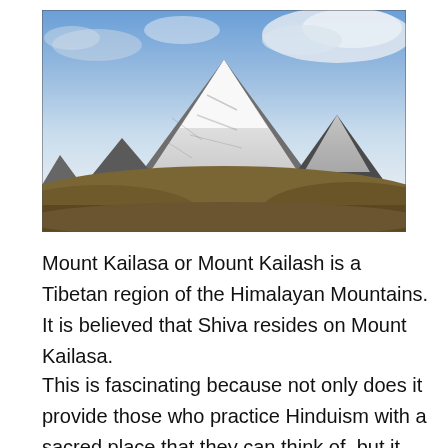[Figure (photo): Photograph of Mount Kailash (Mount Kailasa), a snow-capped pyramidal peak in the Tibetan Himalayan mountains. The central peak is heavily snow-covered with dark rock striations visible. A smaller dark subsidiary peak appears to the right. The foreground shows rolling brown hills/plains. The sky is blue with white clouds.]
Mount Kailasa or Mount Kailash is a Tibetan region of the Himalayan Mountains. It is believed that Shiva resides on Mount Kailasa.
This is fascinating because not only does it provide those who practice Hinduism with a sacred place that they can think of, but it also